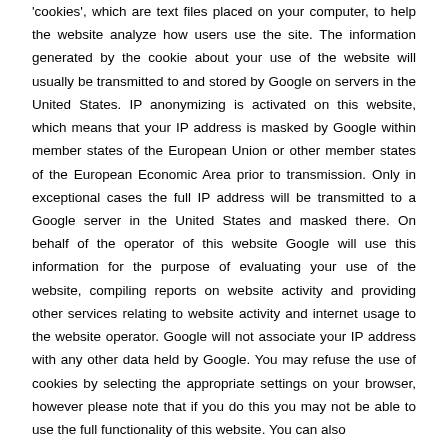'cookies', which are text files placed on your computer, to help the website analyze how users use the site. The information generated by the cookie about your use of the website will usually be transmitted to and stored by Google on servers in the United States. IP anonymizing is activated on this website, which means that your IP address is masked by Google within member states of the European Union or other member states of the European Economic Area prior to transmission. Only in exceptional cases the full IP address will be transmitted to a Google server in the United States and masked there. On behalf of the operator of this website Google will use this information for the purpose of evaluating your use of the website, compiling reports on website activity and providing other services relating to website activity and internet usage to the website operator. Google will not associate your IP address with any other data held by Google. You may refuse the use of cookies by selecting the appropriate settings on your browser, however please note that if you do this you may not be able to use the full functionality of this website. You can also